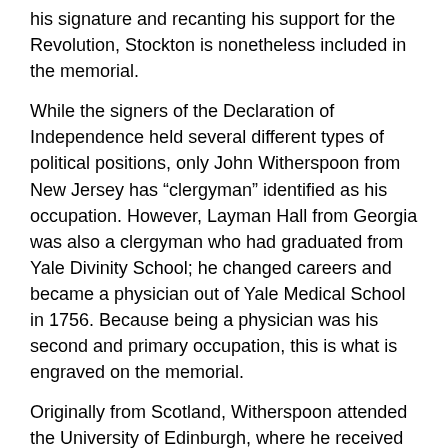his signature and recanting his support for the Revolution, Stockton is nonetheless included in the memorial.
While the signers of the Declaration of Independence held several different types of political positions, only John Witherspoon from New Jersey has “clergyman” identified as his occupation. However, Layman Hall from Georgia was also a clergyman who had graduated from Yale Divinity School; he changed careers and became a physician out of Yale Medical School in 1756. Because being a physician was his second and primary occupation, this is what is engraved on the memorial.
Originally from Scotland, Witherspoon attended the University of Edinburgh, where he received a Master of Arts, followed by four years of divinity school. Afterward, he became an ordained minister, all by age 20. Because of his contribution to the church and his educational background, he was awarded a Doctor of Divinity from the University of St. Andrews.
At that time in history, the most educated men where the clergy. The College of New Jersey (modern-day Princeton) needed additional scholars to join their assembly.